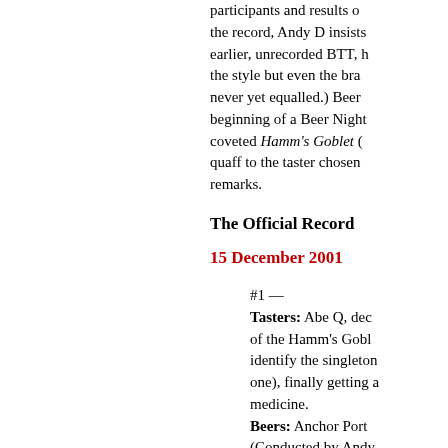participants and results of the record, Andy D insists earlier, unrecorded BTT, h the style but even the bra never yet equalled.) Beer beginning of a Beer Night coveted Hamm's Goblet ( quaff to the taster chosen remarks.
The Official Record
15 December 2001
#1 — Tasters: Abe Q, dec of the Hamm's Gobl identify the singleton one), finally getting medicine. Beers: Anchor Port (Conducted by Andy
#2 — Tasters: Rob D and the singleton.